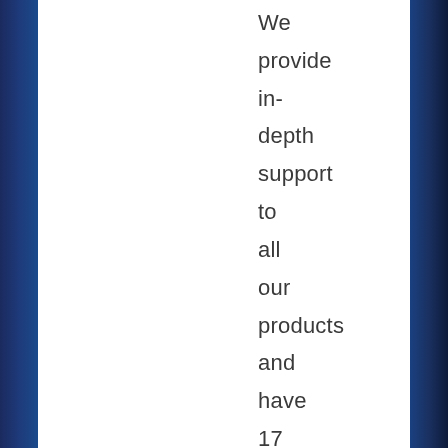We provide in-depth support to all our products and have 17 trained staff throughout New Zealand, backed by